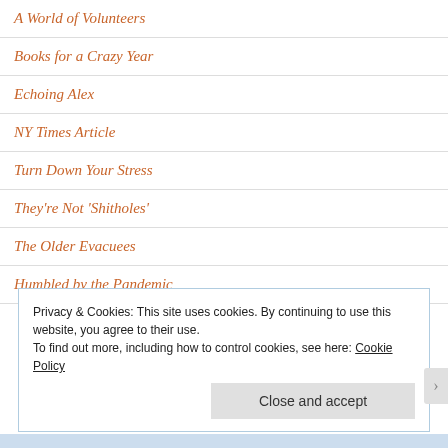A World of Volunteers
Books for a Crazy Year
Echoing Alex
NY Times Article
Turn Down Your Stress
They're Not 'Shitholes'
The Older Evacuees
Humbled by the Pandemic
Privacy & Cookies: This site uses cookies. By continuing to use this website, you agree to their use.
To find out more, including how to control cookies, see here: Cookie Policy
Close and accept